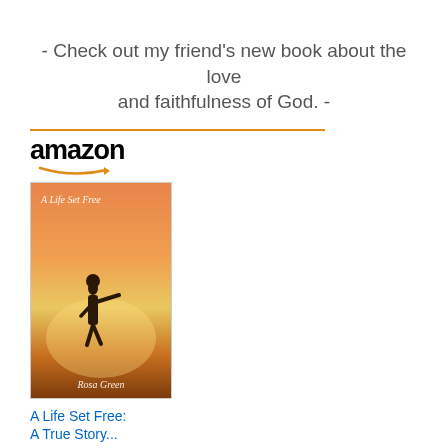- Check out my friend's new book about the love and faithfulness of God. -
[Figure (other): Amazon product widget showing book 'A Life Set Free: A True Story...' priced at $2.99 with Amazon logo, book cover image, and 'Shop now' button]
- Support the ministry Above Rubies. -
[Figure (logo): Amazon logo at bottom, partially visible]